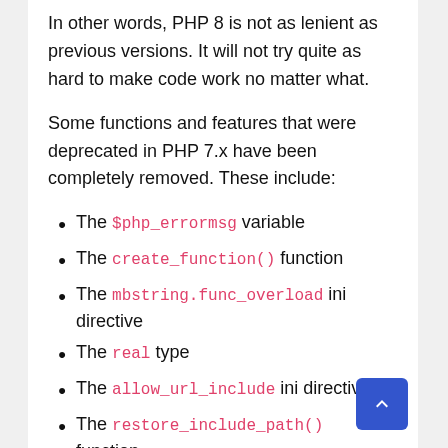In other words, PHP 8 is not as lenient as previous versions. It will not try quite as hard to make code work no matter what.
Some functions and features that were deprecated in PHP 7.x have been completely removed. These include:
The $php_errormsg variable
The create_function() function
The mbstring.func_overload ini directive
The real type
The allow_url_include ini directive
The restore_include_path() function
The each() function
While most of these are no longer widely